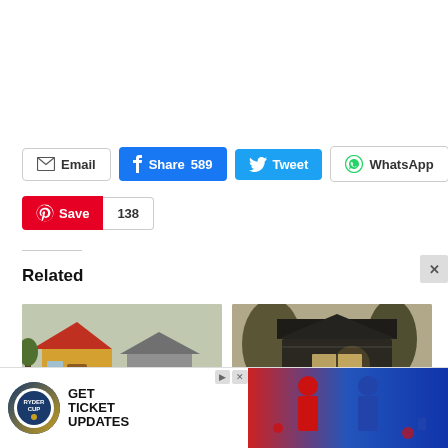[Figure (screenshot): Social share buttons row: Email, Share 589 (Facebook), Tweet (Twitter), WhatsApp]
[Figure (screenshot): Pinterest Save button with count 138]
Related
[Figure (photo): Tiny shotgun house in New Orleans - small yellow/orange house with red trim]
[Figure (photo): Dark barn-style house with large windows and balcony]
Tiny Sh... New Orleans
[Figure (screenshot): Advertisement: Ryder Cup - GET TICKET UPDATES with two golfers photo]